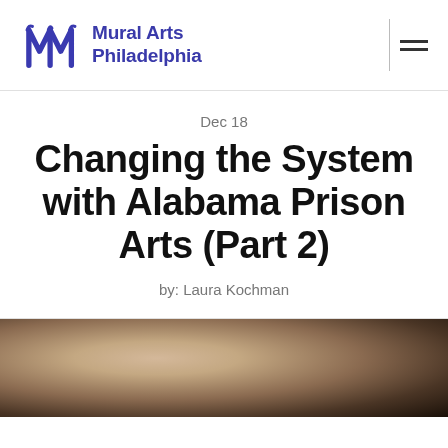Mural Arts Philadelphia
Dec 18
Changing the System with Alabama Prison Arts (Part 2)
by: Laura Kochman
[Figure (photo): A dark photograph with warm brown and tan tones, partially visible at the bottom of the page.]